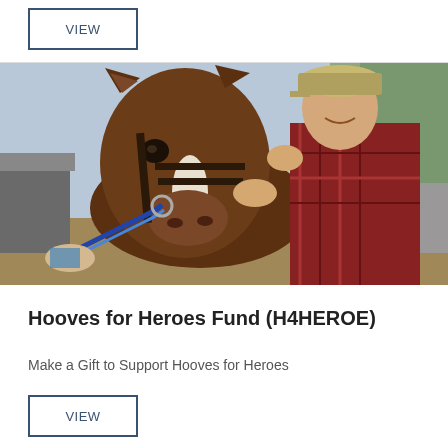VIEW
[Figure (photo): A man in a plaid shirt and cap holding the bridle of a brown horse outdoors, with bare trees and a building in the background.]
Hooves for Heroes Fund (H4HEROE)
Make a Gift to Support Hooves for Heroes
VIEW